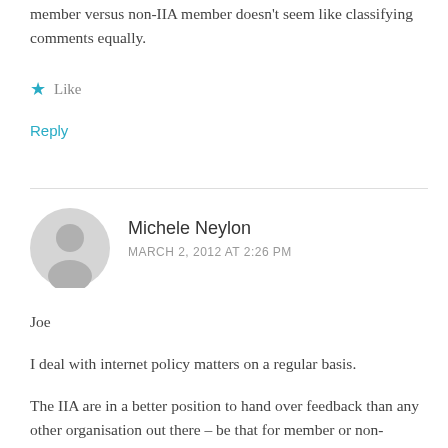member versus non-IIA member doesn't seem like classifying comments equally.
Like
Reply
Michele Neylon
MARCH 2, 2012 AT 2:26 PM
Joe
I deal with internet policy matters on a regular basis.
The IIA are in a better position to hand over feedback than any other organisation out there – be that for member or non-members.